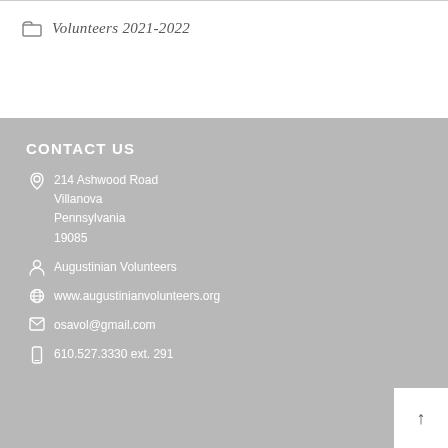Volunteers 2021-2022
CONTACT US
214 Ashwood Road
Villanova
Pennsylvania
19085
Augustinian Volunteers
www.augustinianvolunteers.org
osavol@gmail.com
610.527.3330 ext. 291